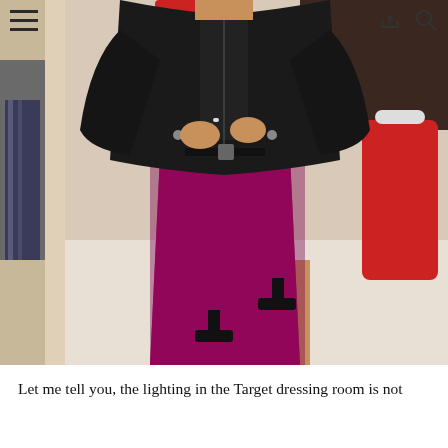[Figure (photo): A woman in a Target dressing room wearing a black leather motorcycle jacket and a sparkly magenta/purple fitted midi skirt with an asymmetric hem, paired with black heeled sandals. The dressing room has beige walls and a mirror. Red Target merchandise and hanging clothes are visible in the background.]
Let me tell you, the lighting in the Target dressing room is not